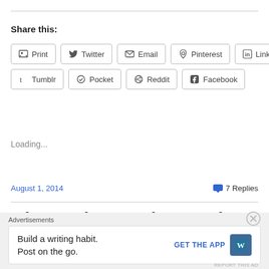Share this:
Print
Twitter
Email
Pinterest
LinkedIn
Tumblr
Pocket
Reddit
Facebook
Loading...
August 1, 2014
7 Replies
Glenmark Generics receives
Advertisements
Build a writing habit. Post on the go.
GET THE APP